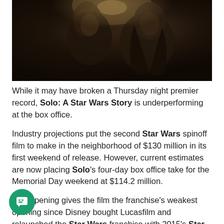[Figure (photo): Dark cinematic still from Solo: A Star Wars Story showing two figures in dim lighting]
While it may have broken a Thursday night premier record, Solo: A Star Wars Story is underperforming at the box office.
Industry projections put the second Star Wars spinoff film to make in the neighborhood of $130 million in its first weekend of release. However, current estimates are now placing Solo's four-day box office take for the Memorial Day weekend at $114.2 million.
This opening gives the film the franchise's weakest opening since Disney bought Lucasfilm and relaunched the Star Wars franchise with 2015's Star Wars: The Force Awakens. That film, spurred on by anticipation of the first Star Wars film in years, opened to a $247.9 million weekend. It's follow up, 2017's The Last Jedi, opened with a $220 million weekend.